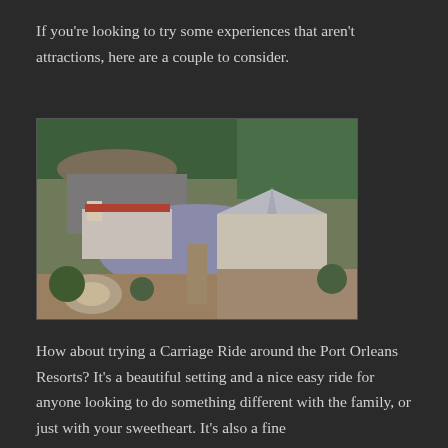If you're looking to try some experiences that aren't attractions, here are a couple to consider.
[Figure (photo): Aerial photograph of Port Orleans Resorts showing buildings, a lake/pond, parking areas, and surrounding trees and construction]
How about trying a Carriage Ride around the Port Orleans Resorts? It's a beautiful setting and a nice easy ride for anyone looking to do something different with the family, or just with your sweetheart. It's also a fine